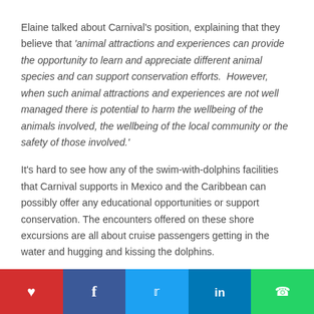Elaine talked about Carnival's position, explaining that they believe that 'animal attractions and experiences can provide the opportunity to learn and appreciate different animal species and can support conservation efforts.  However, when such animal attractions and experiences are not well managed there is potential to harm the wellbeing of the animals involved, the wellbeing of the local community or the safety of those involved.'
It's hard to see how any of the swim-with-dolphins facilities that Carnival supports in Mexico and the Caribbean can possibly offer any educational opportunities or support conservation. The encounters offered on these shore excursions are all about cruise passengers getting in the water and hugging and kissing the dolphins.
This is an excerpt from an itinerary from a Princess Cruises
♥  f  🐦  in  ✆